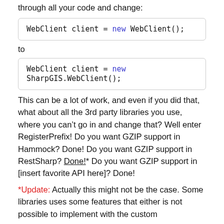through all your code and change:
WebClient client = new WebClient();
to
WebClient client = new SharpGIS.WebClient();
This can be a lot of work, and even if you did that, what about all the 3rd party libraries you use, where you can’t go in and change that? Well enter RegisterPrefix! Do you want GZIP support in Hammock? Done! Do you want GZIP support in RestSharp? Done!* Do you want GZIP support in [insert favorite API here]? Done!
*Update: Actually this might not be the case. Some libraries uses some features that either is not possible to implement with the custom